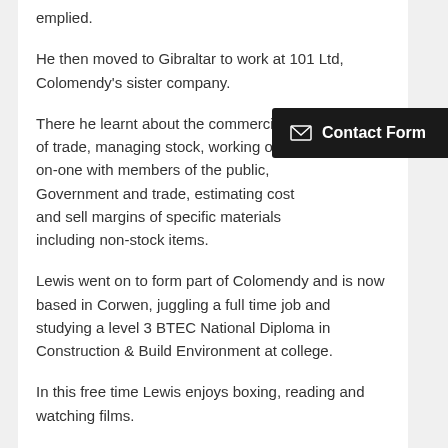emplied.
He then moved to Gibraltar to work at 101 Ltd, Colomendy's sister company.
There he learnt about the commercial side of trade, managing stock, working one-on-one with members of the public, Government and trade, estimating cost and sell margins of specific materials including non-stock items.
Lewis went on to form part of Colomendy and is now based in Corwen, juggling a full time job and studying a level 3 BTEC National Diploma in Construction & Build Environment at college.
In this free time Lewis enjoys boxing, reading and watching films.